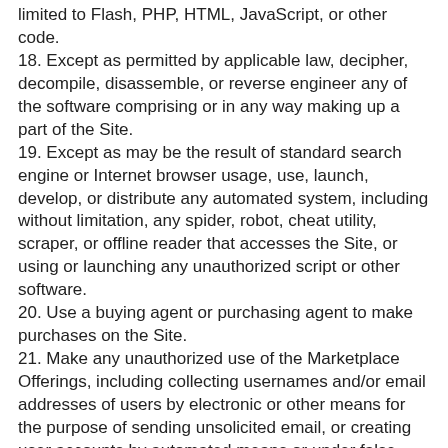limited to Flash, PHP, HTML, JavaScript, or other code.
18. Except as permitted by applicable law, decipher, decompile, disassemble, or reverse engineer any of the software comprising or in any way making up a part of the Site.
19. Except as may be the result of standard search engine or Internet browser usage, use, launch, develop, or distribute any automated system, including without limitation, any spider, robot, cheat utility, scraper, or offline reader that accesses the Site, or using or launching any unauthorized script or other software.
20. Use a buying agent or purchasing agent to make purchases on the Site.
21. Make any unauthorized use of the Marketplace Offerings, including collecting usernames and/or email addresses of users by electronic or other means for the purpose of sending unsolicited email, or creating user accounts by automated means or under false pretenses.
22. Use the Marketplace Offerings as part of any effort to compete with us or otherwise use the Site and/or the Content for any revenue-generating endeavor or commercial